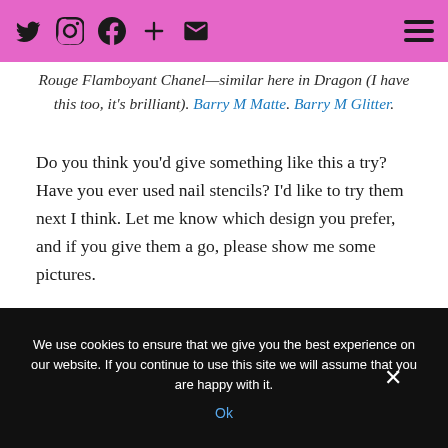Twitter Instagram Facebook Plus Email [hamburger menu]
Rouge Flamboyant Chanel—similar here in Dragon (I have this too, it's brilliant). Barry M Matte. Barry M Glitter.
Do you think you'd give something like this a try? Have you ever used nail stencils? I'd like to try them next I think. Let me know which design you prefer, and if you give them a go, please show me some pictures.
Have a lovely weekend,
We use cookies to ensure that we give you the best experience on our website. If you continue to use this site we will assume that you are happy with it. Ok